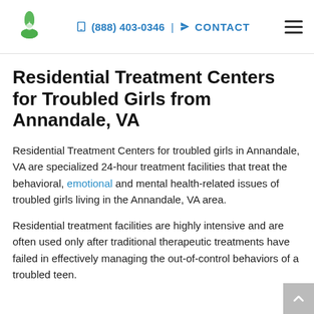(888) 403-0346 | CONTACT
Residential Treatment Centers for Troubled Girls from Annandale, VA
Residential Treatment Centers for troubled girls in Annandale, VA are specialized 24-hour treatment facilities that treat the behavioral, emotional and mental health-related issues of troubled girls living in the Annandale, VA area.
Residential treatment facilities are highly intensive and are often used only after traditional therapeutic treatments have failed in effectively managing the out-of-control behaviors of a troubled teen.